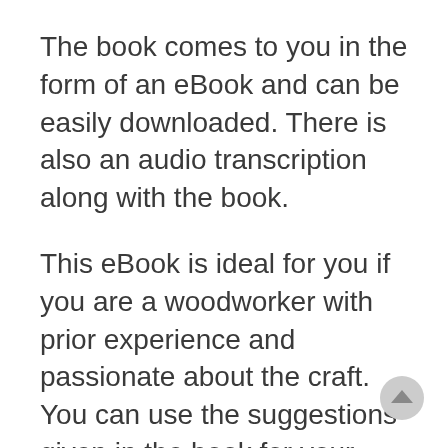The book comes to you in the form of an eBook and can be easily downloaded. There is also an audio transcription along with the book.
This eBook is ideal for you if you are a woodworker with prior experience and passionate about the craft. You can use the suggestions given in the book for your next venture too. You will find a great change in your life once you start using the instructions given in the book. You can also use the guidelines in the book at a later time when you want to start a business. You don't need to be a professional woodworker. The book comes to you with